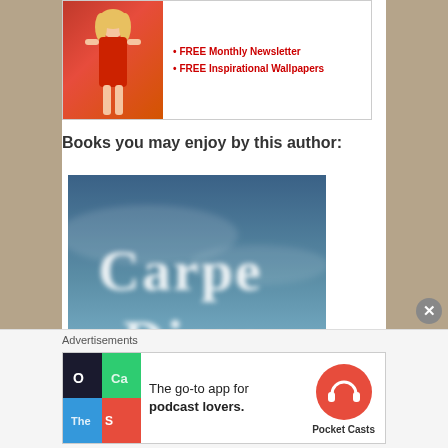[Figure (photo): Advertisement banner showing a woman in a red dress with text about FREE Monthly Newsletter and FREE Inspirational Wallpapers]
Books you may enjoy by this author:
[Figure (photo): Book cover image showing 'Carpe Diem' written in cloud-like letters against a dramatic sky with a sunset]
Advertisements
[Figure (photo): Pocket Casts advertisement: The go-to app for podcast lovers.]